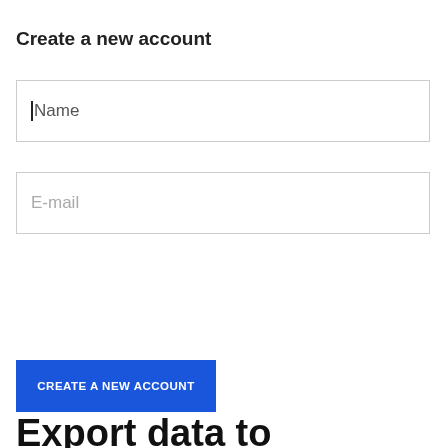Create a new account
Name
E-mail
CREATE A NEW ACCOUNT
Export data to